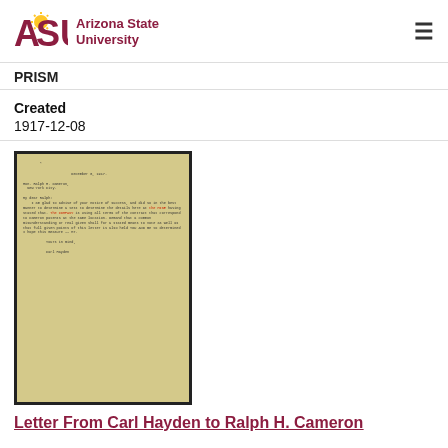ASU Arizona State University
PRISM
Created
1917-12-08
[Figure (photo): Scanned image of a historical typewritten letter on aged yellow paper with black border]
Letter From Carl Hayden to Ralph H. Cameron